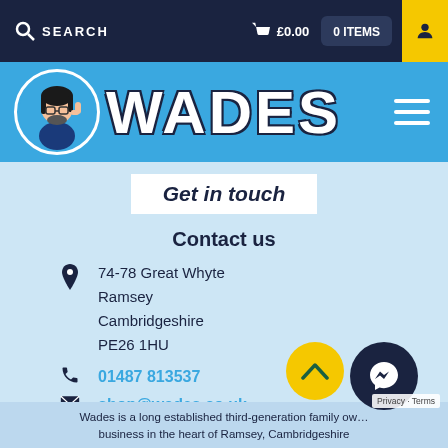SEARCH  £0.00  0 ITEMS
[Figure (logo): Wades logo with cartoon mascot character and WADES text in white with dark outline]
Get in touch
Contact us
74-78 Great Whyte
Ramsey
Cambridgeshire
PE26 1HU
01487 813537
shop@wades.co.uk
Wades is a long established third-generation family owned business in the heart of Ramsey, Cambridgeshire